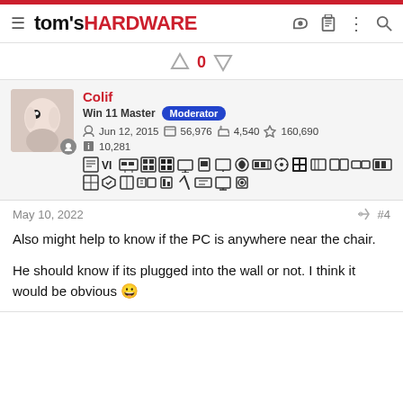tom's HARDWARE
↑ 0 ↓
Colif
Win 11 Master | Moderator
Jun 12, 2015 | 56,976 | 4,540 | 160,690
10,281
May 10, 2022  #4
Also might help to know if the PC is anywhere near the chair.

He should know if its plugged into the wall or not. I think it would be obvious 🙂